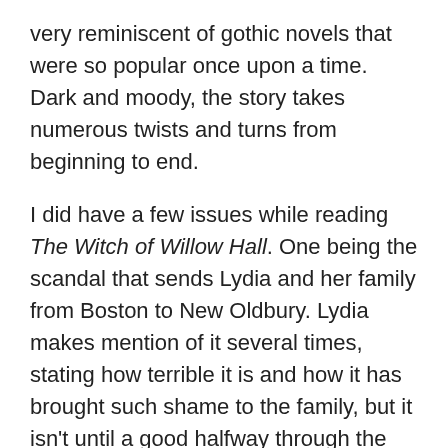very reminiscent of gothic novels that were so popular once upon a time. Dark and moody, the story takes numerous twists and turns from beginning to end.
I did have a few issues while reading The Witch of Willow Hall. One being the scandal that sends Lydia and her family from Boston to New Oldbury. Lydia makes mention of it several times, stating how terrible it is and how it has brought such shame to the family, but it isn't until a good halfway through the book do we the reader actually learn what the actual scandal is. I personally think making mention of it earlier in the story would have made it more impactful.
Sadly, I found the plot surrounding witches and how they impact the family to be rather lacking. Very little mention is made aside from a handful of ghost sightings for Lydia